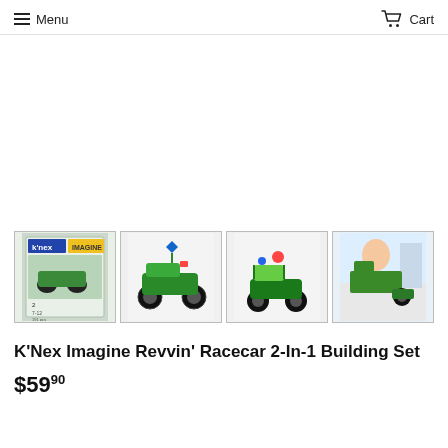Menu  Cart
[Figure (photo): Four product images of K'Nex Imagine Revvin' Racecar 2-In-1 Building Set: product box, assembled racecar model (green/black), alternative build model, and child playing with the set.]
K'Nex Imagine Revvin' Racecar 2-In-1 Building Set
$59.90